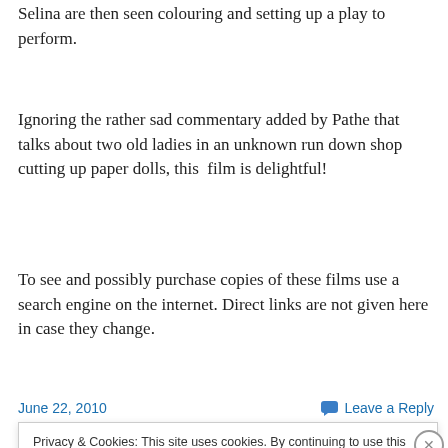Selina are then seen colouring and setting up a play to perform.
Ignoring the rather sad commentary added by Pathe that talks about two old ladies in an unknown run down shop cutting up paper dolls, this film is delightful!
To see and possibly purchase copies of these films use a search engine on the internet. Direct links are not given here in case they change.
June 22, 2010
Leave a Reply
Privacy & Cookies: This site uses cookies. By continuing to use this website, you agree to their use.
To find out more, including how to control cookies, see here: Cookie Policy
Close and accept